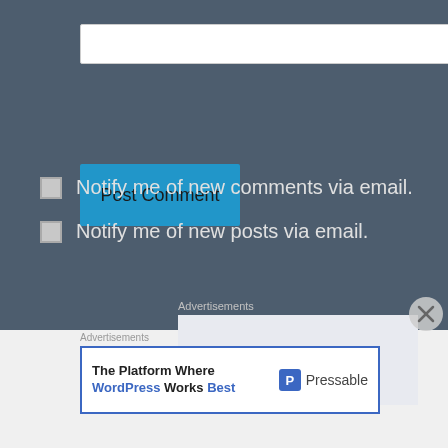[Figure (screenshot): A text input field (white rectangle) at the top of a dark blue-grey form area]
[Figure (screenshot): Post Comment button in blue (#2196c9)]
Notify me of new comments via email.
Notify me of new posts via email.
Advertisements
[Figure (screenshot): Advertisement placeholder box (light grey rectangle)]
Advertisements
[Figure (screenshot): Pressable WordPress ad banner: 'The Platform Where WordPress Works Best' with Pressable logo]